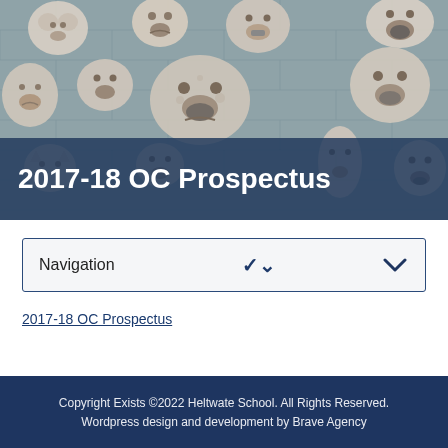[Figure (photo): Photograph of ceramic face sculptures mounted on a brick wall — various grotesque and expressive clay faces in cream/beige tones arranged across a blue-grey brick background.]
2017-18 OC Prospectus
Navigation
2017-18 OC Prospectus
Copyright Exists ©2022 Heltwate School. All Rights Reserved. Wordpress design and development by Brave Agency